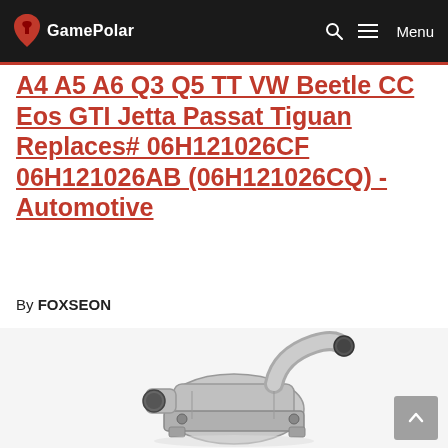GamePolar — Menu
A4 A5 A6 Q3 Q5 TT VW Beetle CC Eos GTI Jetta Passat Tiguan Replaces# 06H121026CF 06H121026AB (06H121026CQ) - Automotive
By FOXSEON
[Figure (photo): Close-up product photo of an automotive water pump / thermostat housing assembly in silver/grey metal, showing hose connections and mounting bracket, on a white background.]